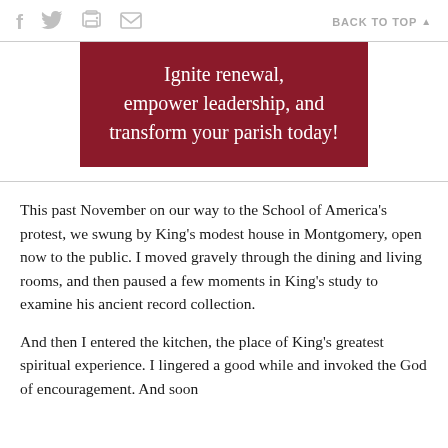f  [twitter]  [print]  [mail]    BACK TO TOP ▲
[Figure (other): Dark red banner with white text reading: Ignite renewal, empower leadership, and transform your parish today!]
This past November on our way to the School of America's protest, we swung by King's modest house in Montgomery, open now to the public. I moved gravely through the dining and living rooms, and then paused a few moments in King's study to examine his ancient record collection.
And then I entered the kitchen, the place of King's greatest spiritual experience. I lingered a good while and invoked the God of encouragement. And soon